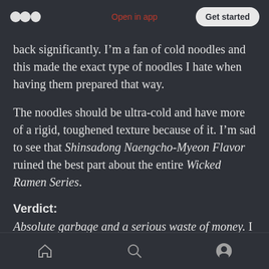Open in app | Get started
back significantly. I’m a fan of cold noodles and this made the exact type of noodles I hate when having them prepared that way.
The noodles should be ultra-cold and have more of a rigid, toughened texture because of it. I’m sad to see that Shinsadong Naengcho-Myeon Flavor ruined the best part about the entire Wicked Ramen Series.
Verdict:
Absolute garbage and a serious waste of money. I would have actually preferred that can of Chef
home | search | profile